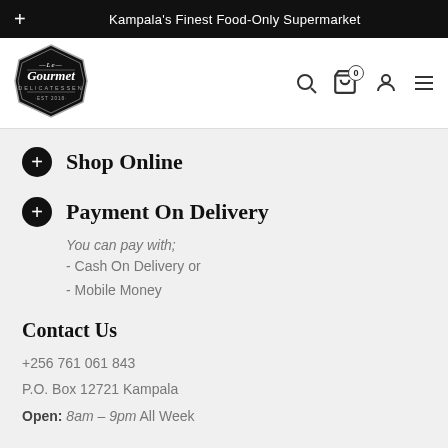Kampala's Finest Food-Only Supermarket
[Figure (logo): Le Gourmet Delicatessen shield-shaped logo, EST 2018, black with white text]
Shop Online
Payment On Delivery
You can pay with;
- Cash On Delivery or
- Mobile Money
Contact Us
+256 761 061 843
P.O. Box 12721 Kampala
Open: 8am – 9pm All Week